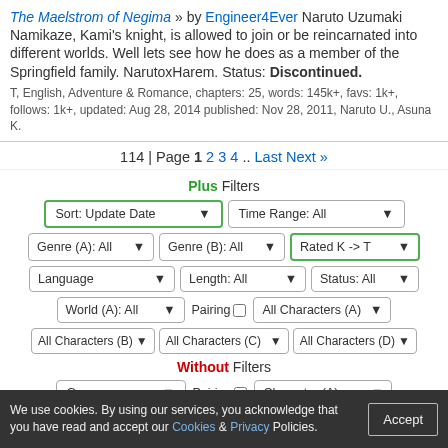The Maelstrom of Negima » by Engineer4Ever Naruto Uzumaki Namikaze, Kami's knight, is allowed to join or be reincarnated into different worlds. Well lets see how he does as a member of the Springfield family. NarutoxHarem. Status: Discontinued. T, English, Adventure & Romance, chapters: 25, words: 145k+, favs: 1k+, follows: 1k+, updated: Aug 28, 2014 published: Nov 28, 2011, Naruto U., Asuna K.
114 | Page 1 2 3 4 .. Last Next »
Plus Filters
Sort: Update Date
Time Range: All
Genre (A): All
Genre (B): All
Rated K -> T
Language
Length: All
Status: All
World (A): All
Pairing
All Characters (A)
All Characters (B)
All Characters (C)
All Characters (D)
Without Filters
Genre
Pairing
Character (A)
We use cookies. By using our services, you acknowledge that you have read and accept our Cookies & Privacy Policies.